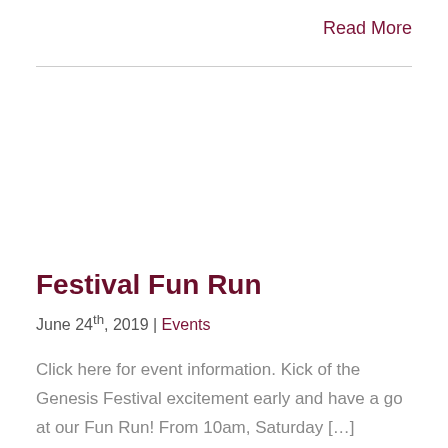Read More
Festival Fun Run
June 24th, 2019 | Events
Click here for event information. Kick of the Genesis Festival excitement early and have a go at our Fun Run! From 10am, Saturday […]